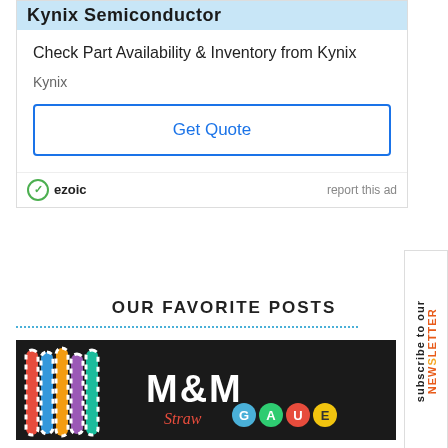[Figure (other): Ad banner for Kynix Semiconductor — partially cropped header in blue, 'Check Part Availability & Inventory from Kynix', 'Get Quote' button, ezoic footer with 'report this ad']
OUR FAVORITE POSTS
[Figure (photo): Photo showing colorful striped paper straws in jars with M&M Straw Gauge branding overlay text]
[Figure (other): Sidebar with 'subscribe to our NEWSLETTER' text rotated vertically]